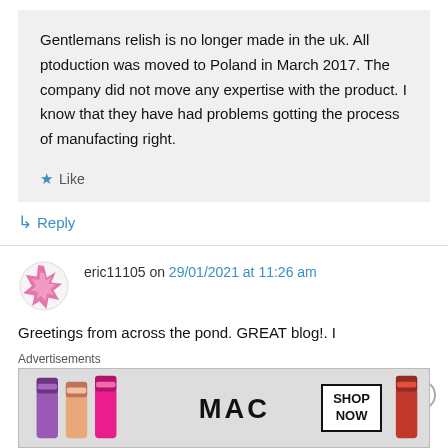Gentlemans relish is no longer made in the uk. All ptoduction was moved to Poland in March 2017. The company did not move any expertise with the product. I know that they have had problems gotting the process of manufacting right.
Like
Reply
eric11105 on 29/01/2021 at 11:26 am
Greetings from across the pond. GREAT blog!. I
Advertisements
[Figure (photo): MAC Cosmetics advertisement showing lipsticks in purple, peach, and pink colors with MAC logo and SHOP NOW button]